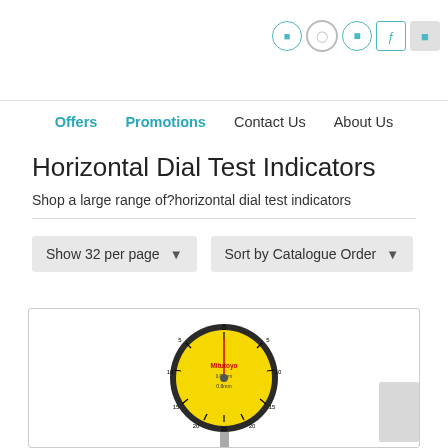Navigation icons header with cart, search, etc.
Offers   Promotions   Contact Us   About Us
Horizontal Dial Test Indicators
Shop a large range of horizontal dial test indicators
Show 32 per page   ▾   Sort by Catalogue Order   ▾
[Figure (photo): A Mitutoyo horizontal dial test indicator with yellow dial face showing scale markings from 0 to 25 in both directions, mounted on a stem.]